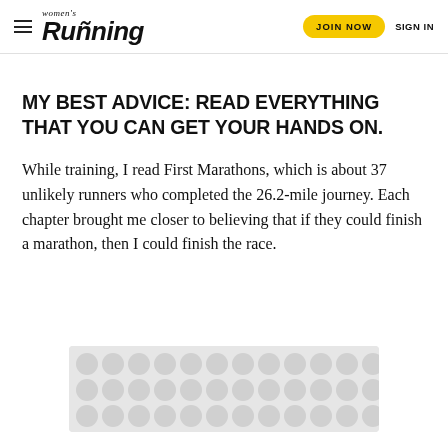Women's Running — JOIN NOW   SIGN IN
MY BEST ADVICE: READ EVERYTHING THAT YOU CAN GET YOUR HANDS ON.
While training, I read First Marathons, which is about 37 unlikely runners who completed the 26.2-mile journey. Each chapter brought me closer to believing that if they could finish a marathon, then I could finish the race.
[Figure (other): Advertisement banner with repeating circular/oval blob pattern in light grey on white background, with a close button (×) on the right side.]